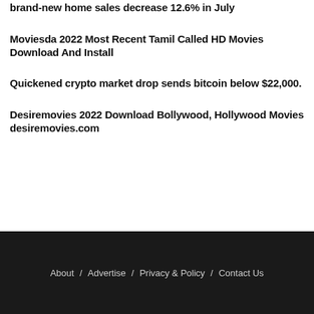brand-new home sales decrease 12.6% in July
Moviesda 2022 Most Recent Tamil Called HD Movies Download And Install
Quickened crypto market drop sends bitcoin below $22,000.
Desiremovies 2022 Download Bollywood, Hollywood Movies desiremovies.com
About / Advertise / Privacy & Policy / Contact Us